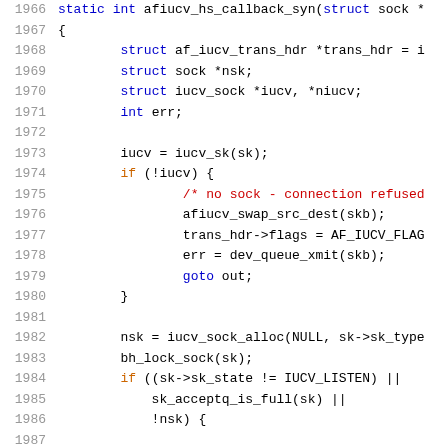Source code snippet showing C function afiucv_hs_callback_syn, lines 1966-1986